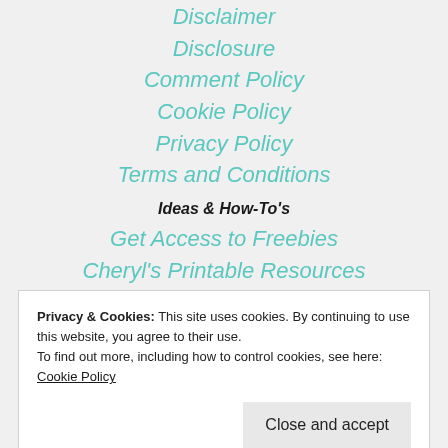Disclaimer
Disclosure
Comment Policy
Cookie Policy
Privacy Policy
Terms and Conditions
Ideas & How-To's
Get Access to Freebies
Cheryl's Printable Resources
Glossary
Newsletter
Recommendations
Privacy & Cookies: This site uses cookies. By continuing to use this website, you agree to their use.
To find out more, including how to control cookies, see here: Cookie Policy
Facebook  Twitter  Instagram  Pinterest